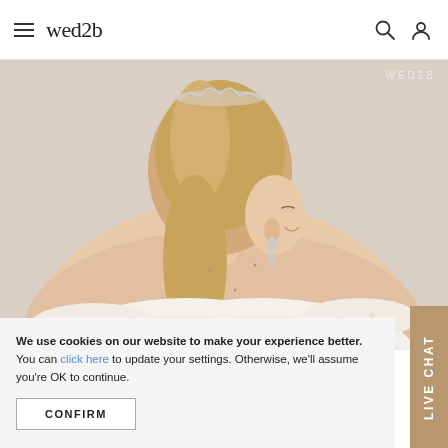wed2b
[Figure (photo): A bride seen from behind, wearing an off-shoulder white lace wedding dress, a crystal tiara, and chandelier earrings. Background is beige/neutral. WED2B watermark in top right.]
We use cookies on our website to make your experience better. You can click here to update your settings. Otherwise, we'll assume you're OK to continue.
CONFIRM
LIVE CHAT